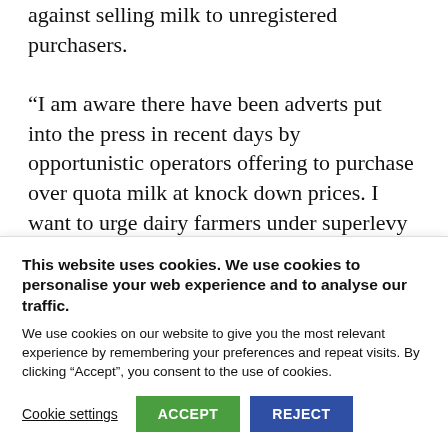against selling milk to unregistered purchasers.

“I am aware there have been adverts put into the press in recent days by opportunistic operators offering to purchase over quota milk at knock down prices. I want to urge dairy farmers under superlevy pressure to resist the temptation
This website uses cookies. We use cookies to personalise your web experience and to analyse our traffic.
We use cookies on our website to give you the most relevant experience by remembering your preferences and repeat visits. By clicking “Accept”, you consent to the use of cookies.
Cookie settings  ACCEPT  REJECT